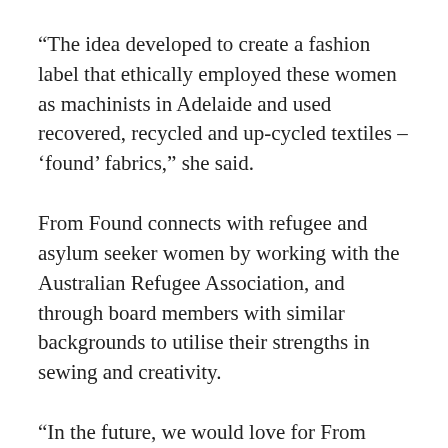“The idea developed to create a fashion label that ethically employed these women as machinists in Adelaide and used recovered, recycled and up-cycled textiles – ‘found’ fabrics,” she said.
From Found connects with refugee and asylum seeker women by working with the Australian Refugee Association, and through board members with similar backgrounds to utilise their strengths in sewing and creativity.
“In the future, we would love for From Found to be an organisation that is made up and run by thriving women from refugee backgrounds…